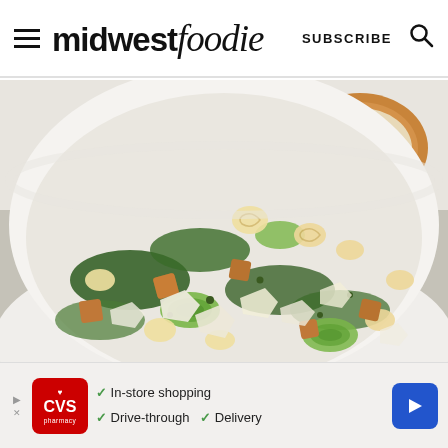midwest foodie — SUBSCRIBE [search icon]
[Figure (photo): Overhead close-up of a large white bowl filled with rotini pasta salad containing kale, sliced zucchini, capers, croutons, and shaved parmesan cheese. A small wooden bowl of shaved parmesan is visible in the upper right corner. The background is a white marble surface.]
[Figure (other): CVS Pharmacy advertisement banner showing CVS logo in red, with checkmarks listing: In-store shopping, Drive-through, Delivery. Blue directional arrow button on right.]